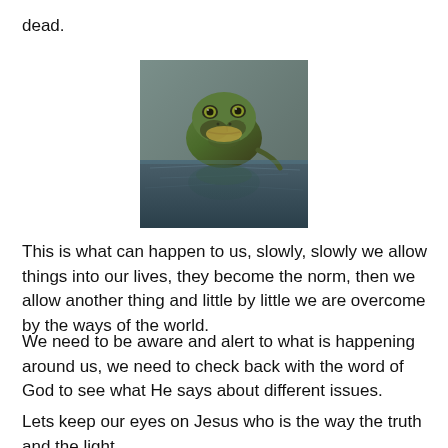dead.
[Figure (photo): A frog sitting in water, photographed close-up, with its reflection visible in the water below it. The frog has a green and brown coloring.]
This is what can happen to us, slowly, slowly we allow things into our lives, they become the norm, then we allow another thing and little by little we are overcome by the ways of the world.
We need to be aware and alert to what is happening around us, we need to check back with the word of God to see what He says about different issues.
Lets keep our eyes on Jesus who is the way the truth and the light.